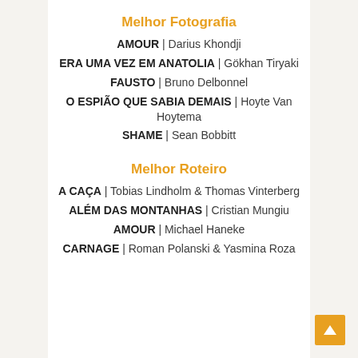Melhor Fotografia
AMOUR | Darius Khondji
ERA UMA VEZ EM ANATOLIA | Gökhan Tiryaki
FAUSTO | Bruno Delbonnel
O ESPIÃO QUE SABIA DEMAIS | Hoyte Van Hoytema
SHAME | Sean Bobbitt
Melhor Roteiro
A CAÇA | Tobias Lindholm & Thomas Vinterberg
ALÉM DAS MONTANHAS | Cristian Mungiu
AMOUR | Michael Haneke
CARNAGE | Roman Polanski & Yasmina Roza